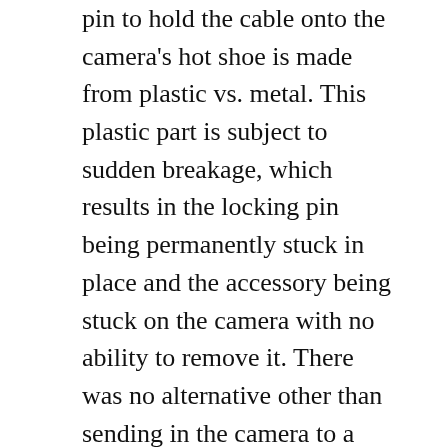pin to hold the cable onto the camera's hot shoe is made from plastic vs. metal.  This plastic part is subject to sudden breakage, which results in the locking pin being permanently stuck in place and the accessory being stuck on the camera with no ability to remove it.  There was no alternative other than sending in the camera to a Nikon authorized repair center to have the flash cord disassembled and removed from the camera.
Over a month later, I just got back my repaired camera.  The repairs and shipping cost just over $300.  But I also lost a month's use of one of my Nikon D810 camera bodies, and the rental price for that use is about $450.  That makes a total of about $750 that I lost over my zeal to